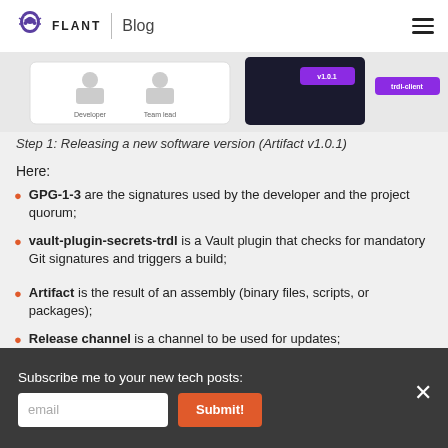FLANT | Blog
[Figure (screenshot): Screenshot strip showing a software release workflow diagram with Developer, Team lead labels, a dark UI panel with v1.0.1 tag, and a trdl-client button]
Step 1: Releasing a new software version (Artifact v1.0.1)
Here:
GPG-1-3 are the signatures used by the developer and the project quorum;
vault-plugin-secrets-trdl is a Vault plugin that checks for mandatory Git signatures and triggers a build;
Artifact is the result of an assembly (binary files, scripts, or packages);
Release channel is a channel to be used for updates;
trdl-client is a client installed on the server (VM) or the user's laptop.